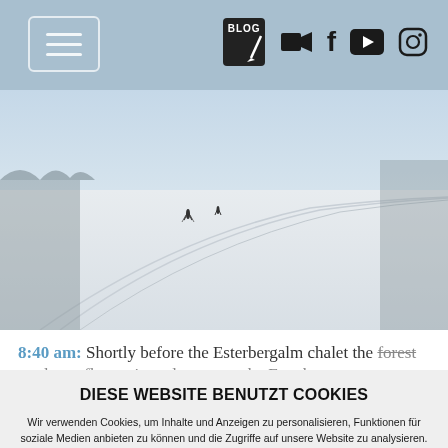[Figure (screenshot): Navigation bar with hamburger menu icon on left and social/blog icons on right (BLOG, video camera, Facebook, YouTube, Instagram) on a grayish-blue background]
[Figure (photo): Winter snow landscape with ski tracks and two small figures in the distance against a pale blue-white sky]
8:40 am: Shortly before the Esterbergalm chalet the forest road gets flat again and we enter the Esterberg...
DIESE WEBSITE BENUTZT COOKIES
Wir verwenden Cookies, um Inhalte und Anzeigen zu personalisieren, Funktionen für soziale Medien anbieten zu können und die Zugriffe auf unsere Website zu analysieren. Außerdem geben wir Informationen zu Ihrer Verwendung unserer Website an unsere Partner für soziale Medien, Werbung und Analysen weiter. Unsere Partner führen diese Informationen möglicherweise mit weiteren Daten zusammen, die Sie ihnen bereitgestellt haben oder die sie im Rahmen Ihrer Nutzung der Dienste gesammelt haben. Weitere Informationen zu Cookies erhalten Sie in unseren Datenschutzhinweisen.
Ok, verstanden
Nicht zustimmen
mehr